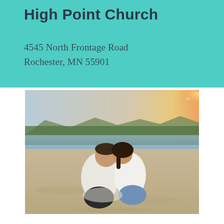High Point Church
4545 North Frontage Road
Rochester, MN 55901
[Figure (photo): A couple sitting together on a sandy beach with a river, trees, and mountains in the background under a warm sunset sky with lens flare.]